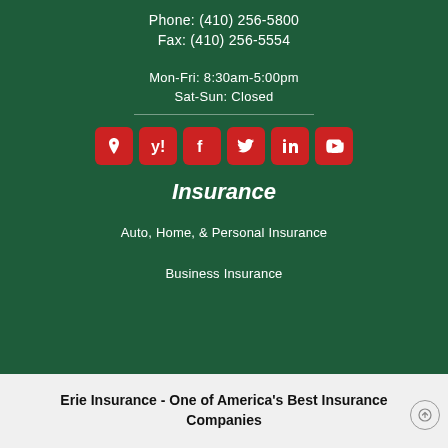Phone: (410) 256-5800
Fax: (410) 256-5554
Mon-Fri: 8:30am-5:00pm
Sat-Sun: Closed
[Figure (infographic): Six red rounded-square social media icons: Google Maps pin, Yelp, Facebook, Twitter, LinkedIn, YouTube]
Insurance
Auto, Home, & Personal Insurance
Business Insurance
Erie Insurance - One of America's Best Insurance Companies